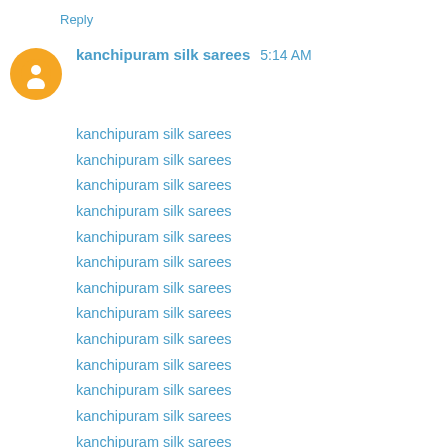Reply
kanchipuram silk sarees  5:14 AM
kanchipuram silk sarees
kanchipuram silk sarees
kanchipuram silk sarees
kanchipuram silk sarees
kanchipuram silk sarees
kanchipuram silk sarees
kanchipuram silk sarees
kanchipuram silk sarees
kanchipuram silk sarees
kanchipuram silk sarees
kanchipuram silk sarees
kanchipuram silk sarees
kanchipuram silk sarees
kanchipuram silk sarees
kanchipuram silk sarees